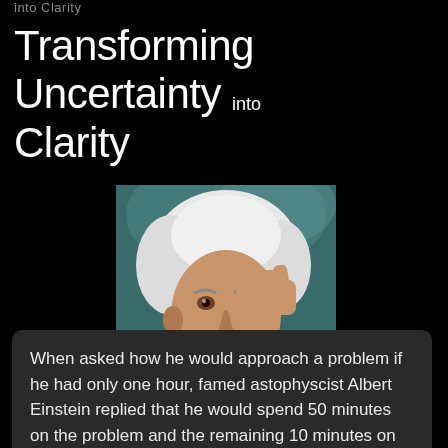into Clarity
Transforming Uncertainty into Clarity
[Figure (photo): Portrait photo of Albert Einstein with white hair, pointing finger to temple, thinking pose, wearing a dark suit with white shirt.]
When asked how he would approach a problem if he had only one hour, famed astophyscist Albert Einstein replied that he would spend 50 minutes on the problem and the remaining 10 minutes on the solution.